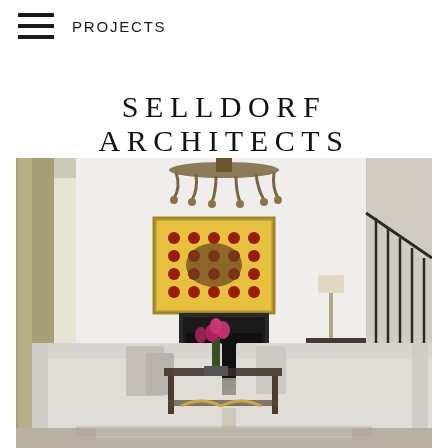PROJECTS
SELLDORF ARCHITECTS
[Figure (photo): Interior photograph of an elegant living room designed by Selldorf Architects. The room features white walls, two white upholstered sofas facing each other, a glass coffee table with decorative objects, a fireplace on the back wall, a framed yellow pop-art painting above the fireplace, an ornate chandelier at the top, floor-to-ceiling drapes on the left, a floor lamp on the right, and a staircase with black metal railing on the far right. Pink/red tulips are arranged on the coffee table.]